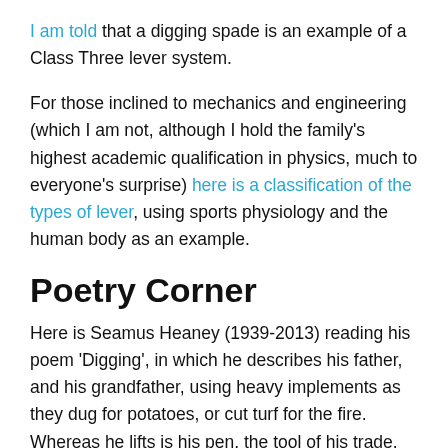I am told that a digging spade is an example of a Class Three lever system.
For those inclined to mechanics and engineering (which I am not, although I hold the family's highest academic qualification in physics, much to everyone's surprise) here is a classification of the types of lever, using sports physiology and the human body as an example.
Poetry Corner
Here is Seamus Heaney (1939-2013) reading his poem 'Digging', in which he describes his father, and his grandfather, using heavy implements as they dug for potatoes, or cut turf for the fire. Whereas he lifts is his pen, the tool of his trade.